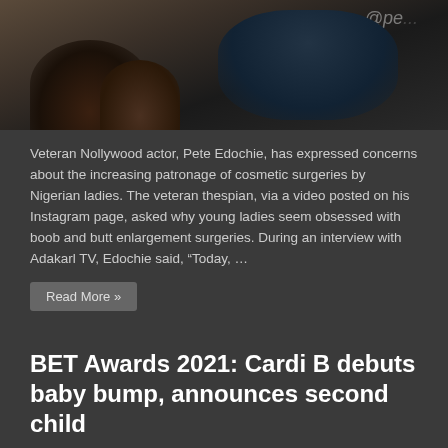[Figure (photo): Top portion of article image showing two people, partially cropped, with watermark '@pe...' visible in upper right]
Veteran Nollywood actor, Pete Edochie, has expressed concerns about the increasing patronage of cosmetic surgeries by Nigerian ladies. The veteran thespian, via a video posted on his Instagram page, asked why young ladies seem obsessed with boob and butt enlargement surgeries. During an interview with Adakarl TV, Edochie said, “Today, …
Read More »
BET Awards 2021: Cardi B debuts baby bump, announces second child
June 30, 2021   Headlines, Social and Entertainment   0
[Figure (photo): Bottom portion showing a person dressed in black, partially cropped, with a WhatsApp chat bubble overlay reading 'Chat with us']